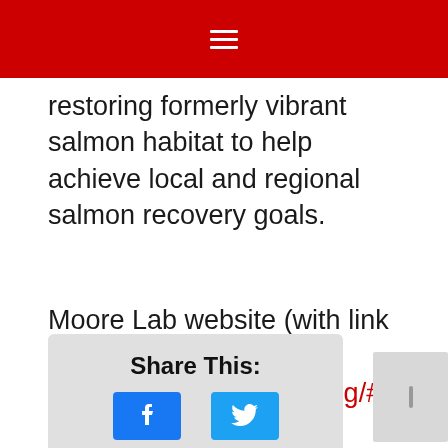restoring formerly vibrant salmon habitat to help achieve local and regional salmon recovery goals.
Moore Lab website (with link to full study): http://www.jonwmoore.org/#!news/crgd
Share This: